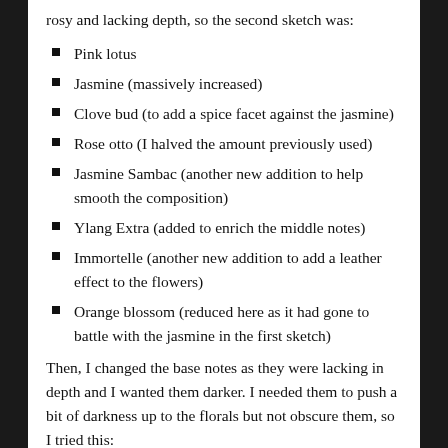rosy and lacking depth, so the second sketch was:
Pink lotus
Jasmine (massively increased)
Clove bud (to add a spice facet against the jasmine)
Rose otto (I halved the amount previously used)
Jasmine Sambac (another new addition to help smooth the composition)
Ylang Extra (added to enrich the middle notes)
Immortelle (another new addition to add a leather effect to the flowers)
Orange blossom (reduced here as it had gone to battle with the jasmine in the first sketch)
Then, I changed the base notes as they were lacking in depth and I wanted them darker. I needed them to push a bit of darkness up to the florals but not obscure them, so I tried this:
Opoponax (increased to the maximum IFRA and EU regulations)